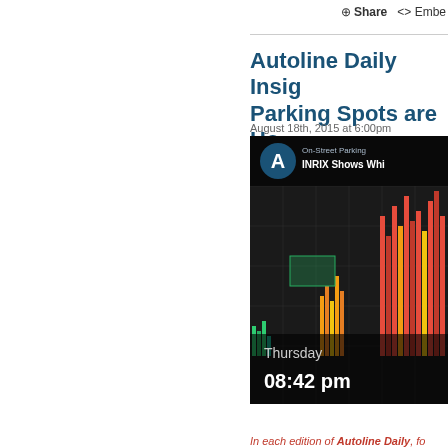⊕ Share <> Embed
Autoline Daily Insights: Parking Spots are Ho…
August 18th, 2015 at 6:00pm
[Figure (screenshot): Screenshot of an Autoline Daily video thumbnail showing the INRIX On-Street Parking app with a 3D bar chart map visualization. The A logo (blue circle with white A) is visible top-left, text reads 'On-Street Parking INRIX Shows Whi…'. The bottom overlay shows 'Thursday 08:42 pm'.]
In each edition of Autoline Daily, fo…